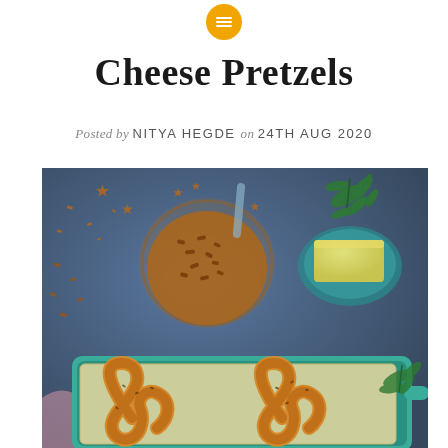[Figure (other): Menu/hamburger icon button in a golden/amber circular background at the top center of the page]
Cheese Pretzels
Posted by NITYA HEGDE on 24TH AUG 2020
[Figure (photo): Overhead food photography on a blue background showing: a teal/turquoise baking dish in the lower portion containing golden baked pretzels topped with seeds; a glass bowl filled with small star-shaped and irregular pretzel pieces in the upper center; a teal ceramic dish with a block of butter in the upper right; fresh green herbs (dill) in the upper right corner; scattered pretzel pieces and seeds on the blue surface; a pink/purple cloth partially visible in the lower left.]